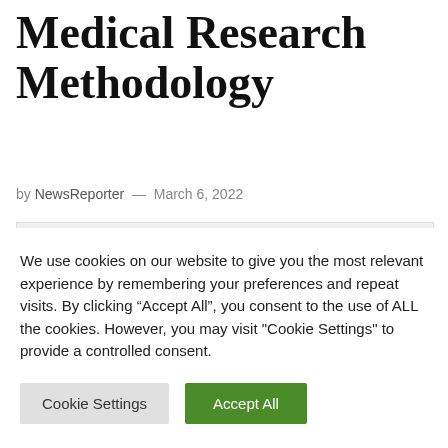Medical Research Methodology
by NewsReporter — March 6, 2022
[Figure (screenshot): BMC Medical Research Methodology journal logo/header on a light grey background]
We use cookies on our website to give you the most relevant experience by remembering your preferences and repeat visits. By clicking “Accept All”, you consent to the use of ALL the cookies. However, you may visit "Cookie Settings" to provide a controlled consent.